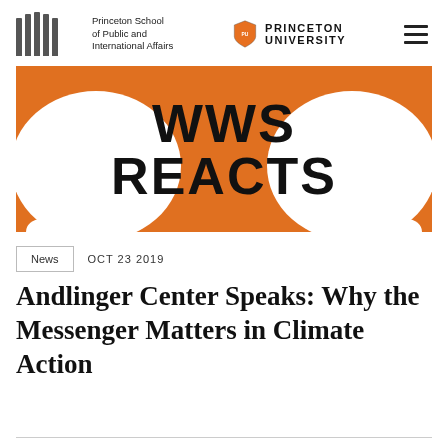Princeton School of Public and International Affairs | Princeton University
[Figure (illustration): WWS Reacts banner image with large bold text 'WWS REACTS' on an orange background with white speech bubble shapes]
News   OCT 23 2019
Andlinger Center Speaks: Why the Messenger Matters in Climate Action